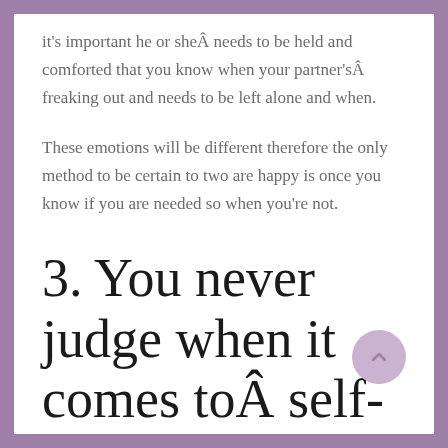it's important he or sheÂ needs to be held and comforted that you know when your partner'sÂ freaking out and needs to be left alone and when.
These emotions will be different therefore the only method to be certain to two are happy is once you know if you are needed so when you're not.
3. You never judge when it comes toÂ self-medication.